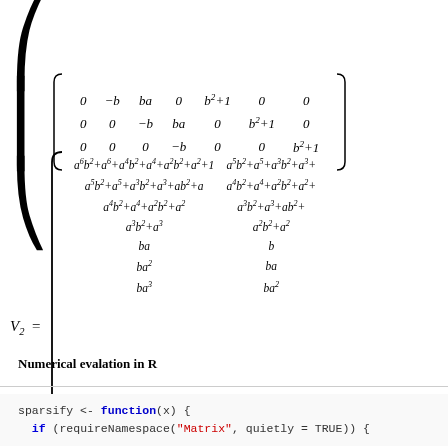Numerical evalation in R
sparsify <- function(x) {
  if (requireNamespace("Matrix", quietly = TRUE)) {